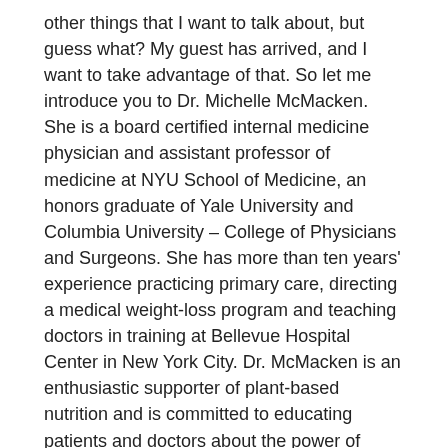other things that I want to talk about, but guess what? My guest has arrived, and I want to take advantage of that. So let me introduce you to Dr. Michelle McMacken. She is a board certified internal medicine physician and assistant professor of medicine at NYU School of Medicine, an honors graduate of Yale University and Columbia University – College of Physicians and Surgeons. She has more than ten years' experience practicing primary care, directing a medical weight-loss program and teaching doctors in training at Bellevue Hospital Center in New York City. Dr. McMacken is an enthusiastic supporter of plant-based nutrition and is committed to educating patients and doctors about the power of healthy eating and lifestyle modification, and she has a certificate in plant-based nutrition from Cornell University. I do too. [Laughs] Thank you for joining me on It's All About Food.
Dr. Michelle McMacken: Thank you for having me. It's great to be here.
Caryn Hartglass: Yeah, well, I met you – if you remember – at the VegNews Comfort Food Shindig, which was a fabulous